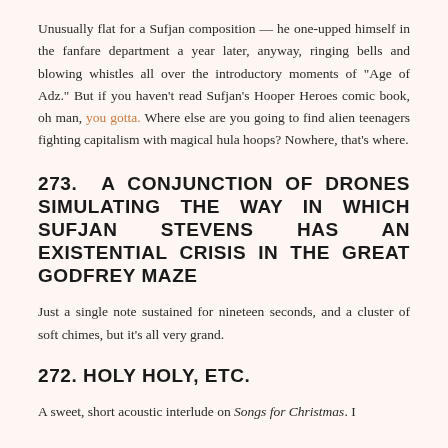Unusually flat for a Sufjan composition — he one-upped himself in the fanfare department a year later, anyway, ringing bells and blowing whistles all over the introductory moments of “Age of Adz.” But if you haven’t read Sufjan’s Hooper Heroes comic book, oh man, you gotta. Where else are you going to find alien teenagers fighting capitalism with magical hula hoops? Nowhere, that’s where.
273. A CONJUNCTION OF DRONES SIMULATING THE WAY IN WHICH SUFJAN STEVENS HAS AN EXISTENTIAL CRISIS IN THE GREAT GODFREY MAZE
Just a single note sustained for nineteen seconds, and a cluster of soft chimes, but it’s all very grand.
272. HOLY HOLY, ETC.
A sweet, short acoustic interlude on Songs for Christmas. I